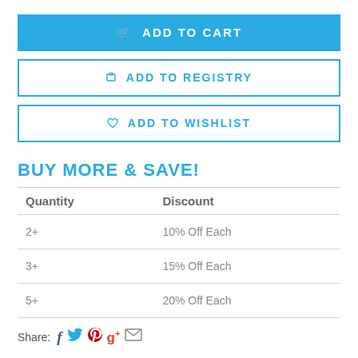ADD TO CART
ADD TO REGISTRY
ADD TO WISHLIST
BUY MORE & SAVE!
| Quantity | Discount |
| --- | --- |
| 2+ | 10% Off Each |
| 3+ | 15% Off Each |
| 5+ | 20% Off Each |
Share: